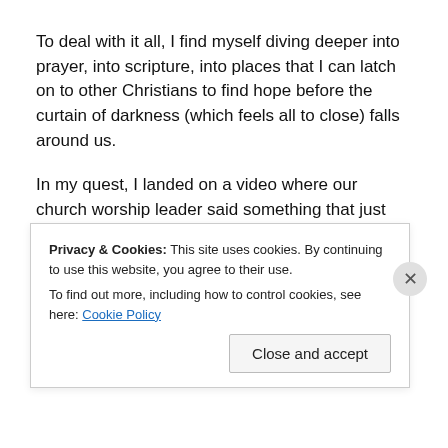To deal with it all, I find myself diving deeper into prayer, into scripture, into places that I can latch on to other Christians to find hope before the curtain of darkness (which feels all to close) falls around us.
In my quest, I landed on a video where our church worship leader said something that just resonated deep within me. He said something to the effect of "We are all social
Privacy & Cookies: This site uses cookies. By continuing to use this website, you agree to their use.
To find out more, including how to control cookies, see here: Cookie Policy